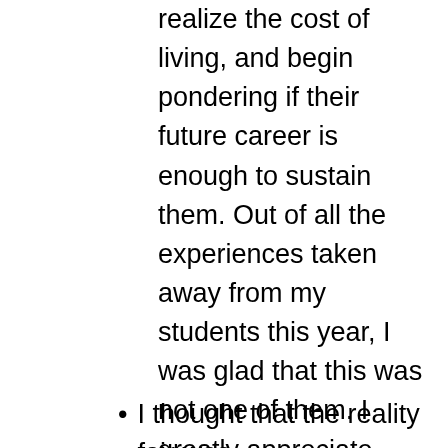realize the cost of living, and begin pondering if their future career is enough to sustain them. Out of all the experiences taken away from my students this year, I was glad that this was not one of them. I greatly appreciate Desco creating a “Virtual Reality Fair” for my students. I am happy to know that they still got to experience all the Reality Fair activities and glean life-long lessons from the lessons presented. Bethany Ottens, Minford teacher, May 2020.
I thought that the reality fair was